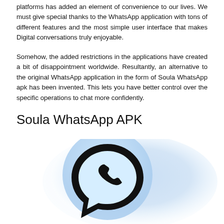platforms has added an element of convenience to our lives. We must give special thanks to the WhatsApp application with tons of different features and the most simple user interface that makes Digital conversations truly enjoyable.
Somehow, the added restrictions in the applications have created a bit of disappointment worldwide. Resultantly, an alternative to the original WhatsApp application in the form of Soula WhatsApp apk has been invented. This lets you have better control over the specific operations to chat more confidently.
Soula WhatsApp APK
[Figure (illustration): WhatsApp logo — a phone handset icon inside a speech bubble, shown in black on a light blue/teal circular background, with a soft blue gradient blob behind it.]